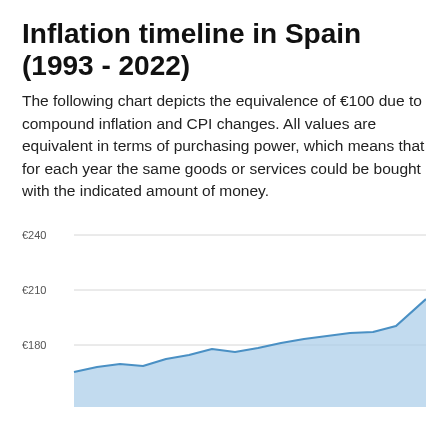Inflation timeline in Spain (1993 - 2022)
The following chart depicts the equivalence of €100 due to compound inflation and CPI changes. All values are equivalent in terms of purchasing power, which means that for each year the same goods or services could be bought with the indicated amount of money.
[Figure (area-chart): Area chart showing the inflation-adjusted value of €100 in Spain from 1993 to 2022. The visible portion shows values rising from approximately €165 around 2007 to approximately €205 in 2022, with y-axis gridlines at €180, €210, and €240.]